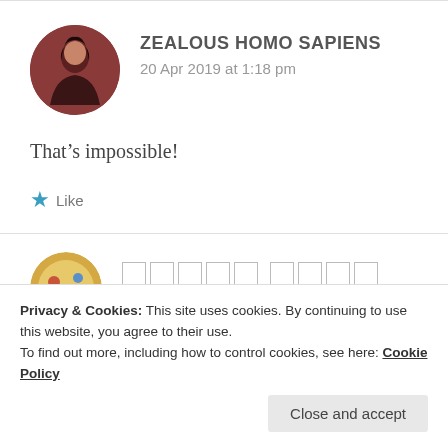ZEALOUS HOMO SAPIENS
20 Apr 2019 at 1:18 pm
That's impossible!
Like
Privacy & Cookies: This site uses cookies. By continuing to use this website, you agree to their use.
To find out more, including how to control cookies, see here: Cookie Policy
Close and accept